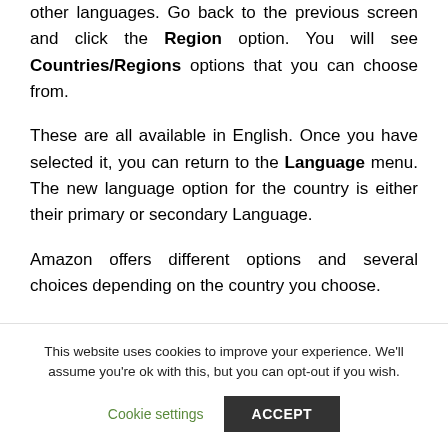other languages. Go back to the previous screen and click the Region option. You will see Countries/Regions options that you can choose from.
These are all available in English. Once you have selected it, you can return to the Language menu. The new language option for the country is either their primary or secondary Language.
Amazon offers different options and several choices depending on the country you choose.
This website uses cookies to improve your experience. We'll assume you're ok with this, but you can opt-out if you wish.
Cookie settings
ACCEPT